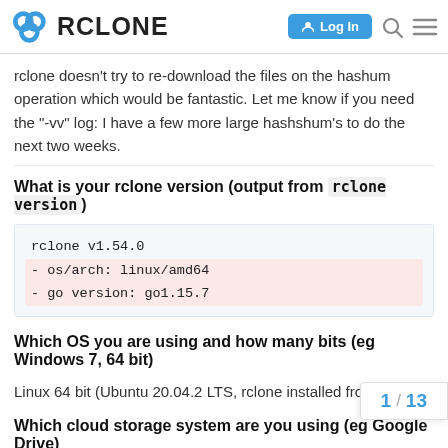RCLONE — Log In
rclone doesn't try to re-download the files on the hashum operation which would be fantastic. Let me know if you need the "-vv" log: I have a few more large hashshum's to do the next two weeks.
What is your rclone version (output from rclone version)
rclone v1.54.0
- os/arch: linux/amd64
- go version: go1.15.7
Which OS you are using and how many bits (eg Windows 7, 64 bit)
Linux 64 bit (Ubuntu 20.04.2 LTS, rclone installed from the .zip)
Which cloud storage system are you us... Drive)
1 / 13